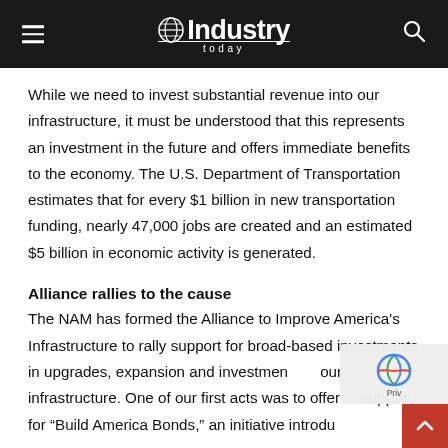Industry Today
While we need to invest substantial revenue into our infrastructure, it must be understood that this represents an investment in the future and offers immediate benefits to the economy. The U.S. Department of Transportation estimates that for every $1 billion in new transportation funding, nearly 47,000 jobs are created and an estimated $5 billion in economic activity is generated.
Alliance rallies to the cause
The NAM has formed the Alliance to Improve America's Infrastructure to rally support for broad-based investments in upgrades, expansion and investments in our infrastructure. One of our first acts was to offer support for “Build America Bonds,” an initiative introdu